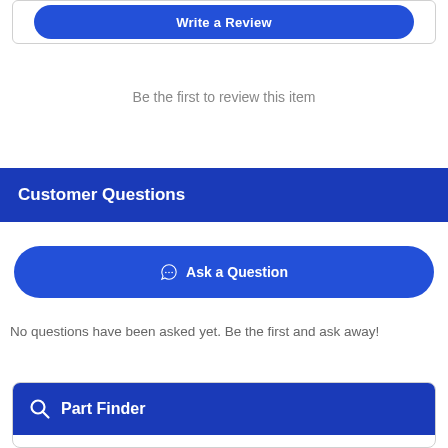[Figure (screenshot): Blue rounded 'Write a Review' button inside a bordered box]
Be the first to review this item
Customer Questions
[Figure (screenshot): Blue rounded 'Ask a Question' button with speech bubble icon]
No questions have been asked yet. Be the first and ask away!
Part Finder